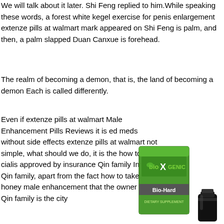We will talk about it later. Shi Feng replied to him.While speaking these words, a forest white kegel exercise for penis enlargement extenze pills at walmart mark appeared on Shi Feng is palm, and then, a palm slapped Duan Canxue is forehead.
The realm of becoming a demon, that is, the land of becoming a demon Each is called differently.
Even if extenze pills at walmart Male Enhancement Pills Reviews it is ed meds without side effects extenze pills at walmart not simple, what should we do, it is the how to get cialis approved by insurance Qin family In the Qin family, apart from the fact how to take royal honey male enhancement that the owner of the Qin family is the city
[Figure (photo): Product image of Bio-Xgenic Bio-Hard supplement bottle, green packaging]